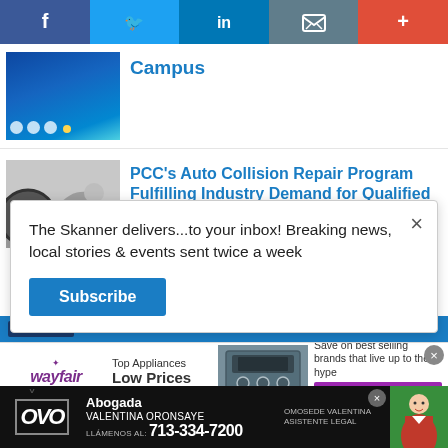[Figure (screenshot): Social media sharing bar with Facebook (blue), Twitter (light blue), LinkedIn (dark blue), Email (grey), and More (red/orange) buttons]
[Figure (photo): Blue stage lights or LED lights on dark background]
Campus
[Figure (photo): Person working on auto body repair, bent over a vehicle panel]
PCC's Auto Collision Repair Program Fulfilling Industry Demand for Qualified Techs
The Skanner delivers...to your inbox! Breaking news, local stories & events sent twice a week
Subscribe
[Figure (screenshot): Wayfair advertisement for Top Appliances at Low Prices with appliance image and Shop now button]
[Figure (screenshot): Abogada Valentina Oronsaye legal advertisement with phone number 713-334-7200]